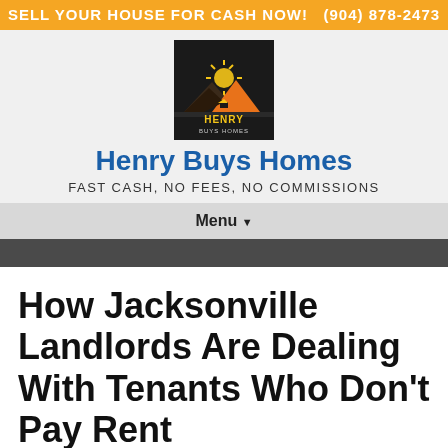SELL YOUR HOUSE FOR CASH NOW!  (904) 878-2473
[Figure (logo): Henry Buys Homes logo — dark background with mountain/sun graphic and text 'HENRY BUYS HOMES']
Henry Buys Homes
FAST CASH, NO FEES, NO COMMISSIONS
Menu ▾
How Jacksonville Landlords Are Dealing With Tenants Who Don't Pay Rent